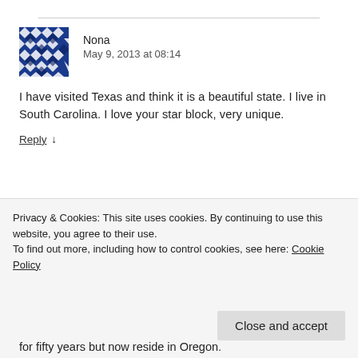[Figure (illustration): Geometric quilt-pattern avatar for user Nona, blue and white diamond tessellation pattern]
Nona
May 9, 2013 at 08:14
I have visited Texas and think it is a beautiful state. I live in South Carolina. I love your star block, very unique.
Reply ↓
[Figure (illustration): Geometric quilt-pattern avatar for user Jan, teal and dark angular pattern]
Jan
Privacy & Cookies: This site uses cookies. By continuing to use this website, you agree to their use.
To find out more, including how to control cookies, see here: Cookie Policy
Close and accept
for fifty years but now reside in Oregon.